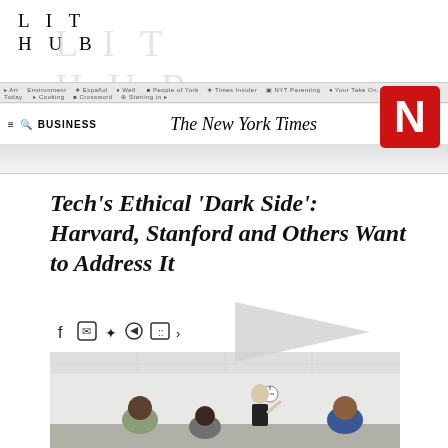LIT HUB
[Figure (screenshot): Screenshot of The New York Times website showing BUSINESS section header with navigation bar, NYT masthead in italic serif, a blue 'PLAY THE...' button, and a red N logo in the top right corner. A faint LIT HUB watermark appears behind the banner.]
Tech's Ethical 'Dark Side': Harvard, Stanford and Others Want to Address It
[Figure (other): Social media sharing icons row (Facebook, WhatsApp, Twitter, YouTube, grid icon) with a large play button triangle overlay]
[Figure (photo): A classroom scene with a woman in black standing and speaking to seated students from behind, in a university seminar room with white walls and ceiling tiles]